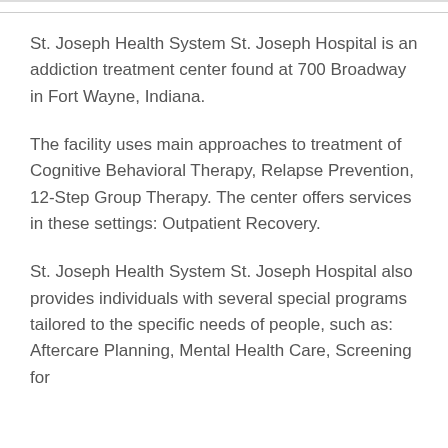St. Joseph Health System St. Joseph Hospital is an addiction treatment center found at 700 Broadway in Fort Wayne, Indiana.
The facility uses main approaches to treatment of Cognitive Behavioral Therapy, Relapse Prevention, 12-Step Group Therapy. The center offers services in these settings: Outpatient Recovery.
St. Joseph Health System St. Joseph Hospital also provides individuals with several special programs tailored to the specific needs of people, such as: Aftercare Planning, Mental Health Care, Screening for